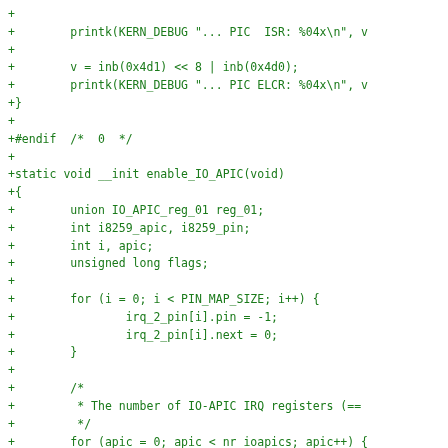+
+        printk(KERN_DEBUG "... PIC  ISR: %04x\n", v
+
+        v = inb(0x4d1) << 8 | inb(0x4d0);
+        printk(KERN_DEBUG "... PIC ELCR: %04x\n", v
+}
+
+#endif  /*  0  */
+
+static void __init enable_IO_APIC(void)
+{
+        union IO_APIC_reg_01 reg_01;
+        int i8259_apic, i8259_pin;
+        int i, apic;
+        unsigned long flags;
+
+        for (i = 0; i < PIN_MAP_SIZE; i++) {
+                irq_2_pin[i].pin = -1;
+                irq_2_pin[i].next = 0;
+        }
+
+        /*
+         * The number of IO-APIC IRQ registers (==
+         */
+        for (apic = 0; apic < nr_ioapics; apic++) {
+                spin_lock_irqsave(&ioapic_lock, fla
+                reg_01.raw = io_apic_read(apic, 1);
+                spin_unlock_irqrestore(&ioapic_lock
+                nr_ioapic_registers[apic] = reg_01.
+        }